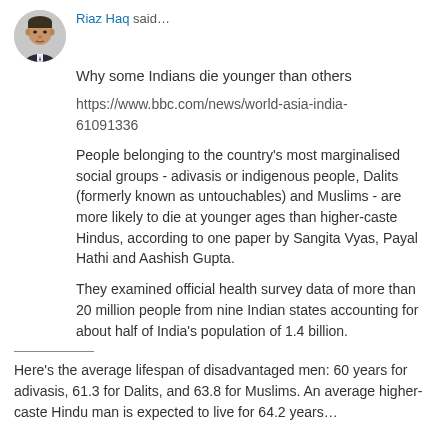Riaz Haq said…
Why some Indians die younger than others
https://www.bbc.com/news/world-asia-india-61091336
People belonging to the country's most marginalised social groups - adivasis or indigenous people, Dalits (formerly known as untouchables) and Muslims - are more likely to die at younger ages than higher-caste Hindus, according to one paper by Sangita Vyas, Payal Hathi and Aashish Gupta.
They examined official health survey data of more than 20 million people from nine Indian states accounting for about half of India's population of 1.4 billion.
Here's the average lifespan of disadvantaged men: 60 years for adivasis, 61.3 for Dalits, and 63.8 for Muslims. An average higher-caste Hindu man is expected to live for 64.2 years…